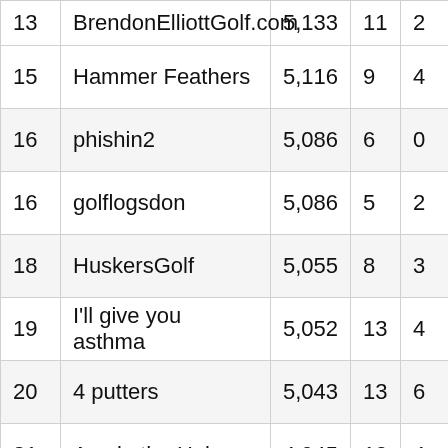| Rank | Name | Score | Col4 | Col5 | Col6 |
| --- | --- | --- | --- | --- | --- |
| 13 | BrendonElliottGolf.com | 5,133 | 11 | 2 |  |
| 15 | Hammer Feathers | 5,116 | 9 | 4 |  |
| 16 | phishin2 | 5,086 | 6 | 0 |  |
| 16 | golflogsdon | 5,086 | 5 | 2 |  |
| 18 | HuskersGolf | 5,055 | 8 | 3 |  |
| 19 | I'll give you asthma | 5,052 | 13 | 4 |  |
| 20 | 4 putters | 5,043 | 13 | 6 |  |
| 21 | Ace in the Hole | 4,945 | 10 | 4 |  |
| 22 | Garden City Fighting Irish | 4,923 | 11 | 2 |  |
| 23 | Hot Rod Williams | 4,884 | 7 | 1 |  |